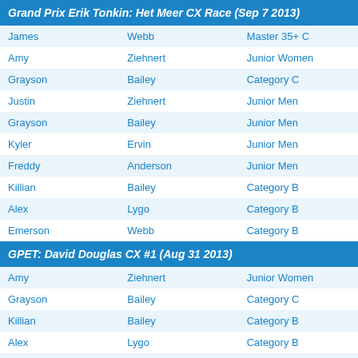Grand Prix Erik Tonkin: Het Meer CX Race (Sep 7 2013)
| First | Last | Category |
| --- | --- | --- |
| James | Webb | Master 35+ C |
| Amy | Ziehnert | Junior Women |
| Grayson | Bailey | Category C |
| Justin | Ziehnert | Junior Men |
| Grayson | Bailey | Junior Men |
| Kyler | Ervin | Junior Men |
| Freddy | Anderson | Junior Men |
| Killian | Bailey | Category B |
| Alex | Lygo | Category B |
| Emerson | Webb | Category B |
GPET: David Douglas CX #1 (Aug 31 2013)
| First | Last | Category |
| --- | --- | --- |
| Amy | Ziehnert | Junior Women |
| Grayson | Bailey | Category C |
| Killian | Bailey | Category B |
| Alex | Lygo | Category B |
| Ian | Eglitis | Singlespeed |